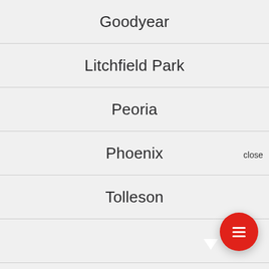Goodyear
Litchfield Park
Peoria
Phoenix
Tolleson
[Figure (screenshot): Chat widget overlay with avatar and message: Hi there, have a question? Text us here. With close button and red FAB button.]
Sun City Grand
Sun City West